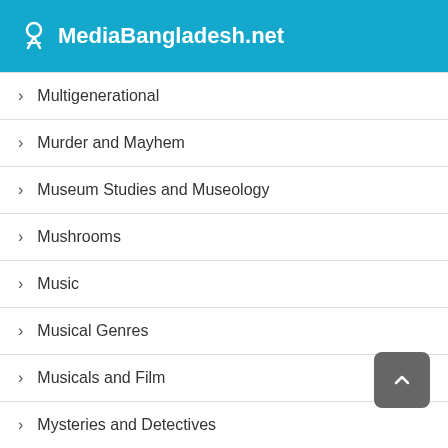MediaBangladesh.net
Multigenerational
Murder and Mayhem
Museum Studies and Museology
Mushrooms
Music
Musical Genres
Musicals and Film
Mysteries and Detectives
Mystery